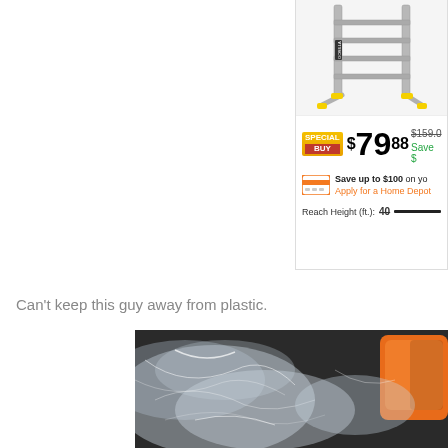[Figure (photo): Partial view of a product listing card showing an aluminum ladder image cropped at top, with a SPECIAL BUY badge, price $79.88, original price $159.00, save amount, credit card offer to save up to $100 and apply for Home Depot card, and Reach Height field]
Can't keep this guy away from plastic.
[Figure (photo): Close-up photo of crumpled clear plastic wrap/bags with an orange object visible on the right side]